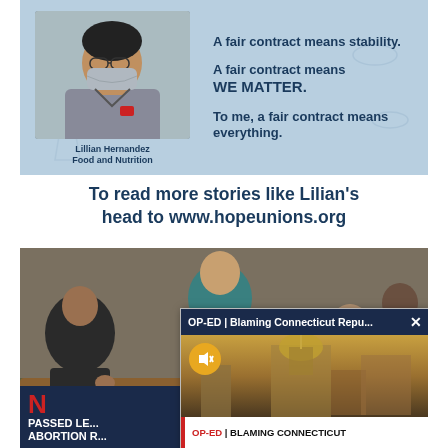[Figure (photo): Banner image showing Lillian Hernandez, a masked food and nutrition worker, with text: 'A fair contract means stability. A fair contract means WE MATTER. To me, a fair contract means everything.' on a light blue hexagonal background.]
To read more stories like Lilian's head to www.hopeunions.org
[Figure (screenshot): Screenshot showing a meeting room scene overlaid with a popup browser notification reading 'OP-ED | Blaming Connecticut Repu...' with an article thumbnail and headline 'OP-ED | BLAMING CONNECTICUT REPUBLICANS FOR OVERDUE REFORMS? THAT'S A STRETCH | CT NEWS JUNKIE'. Bottom left shows partial text 'N... PASSED LE... ABORTION R...']